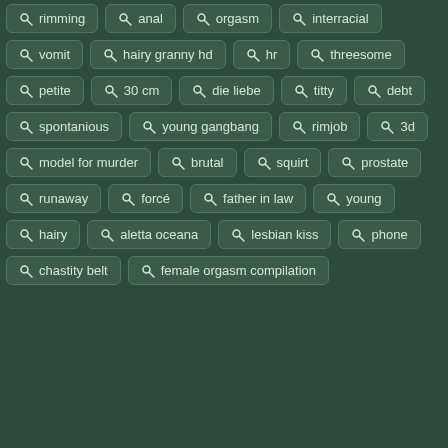rimming
anal
orgasm
interracial
vomit
hairy granny hd
hr
threesome
petite
30 cm
die liebe
titty
debt
spontanious
young gangbang
rimjob
3d
model for murder
brutal
squirt
prostate
runaway
forcé
father in law
young
hairy
aletta oceana
lesbian kiss
phone
chastity belt
female orgasm compilation